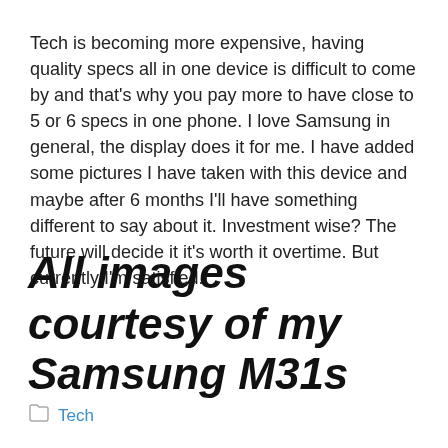Tech is becoming more expensive, having quality specs all in one device is difficult to come by and that's why you pay more to have close to 5 or 6 specs in one phone. I love Samsung in general, the display does it for me. I have added some pictures I have taken with this device and maybe after 6 months I'll have something different to say about it. Investment wise? The future will decide it it's worth it overtime. But currently I'm satisfied.
All images courtesy of my Samsung M31s
Tech